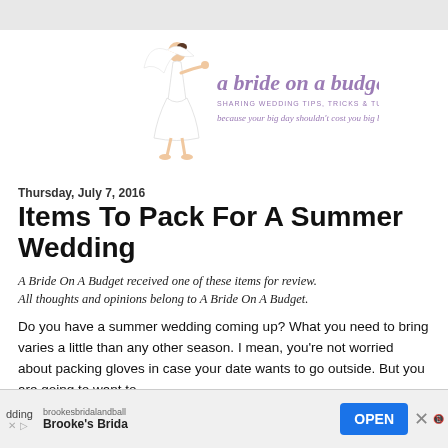[Figure (logo): A Bride On A Budget logo with cartoon bride illustration, purple script text reading 'a bride on a budget', tagline 'SHARING WEDDING TIPS, TRICKS & TUTORIALS' and 'because your big day shouldn't cost you big bucks']
Thursday, July 7, 2016
Items To Pack For A Summer Wedding
A Bride On A Budget received one of these items for review. All thoughts and opinions belong to A Bride On A Budget.
Do you have a summer wedding coming up? What you need to bring varies a little than any other season. I mean, you're not worried about packing gloves in case your date wants to go outside. But you are going to want to